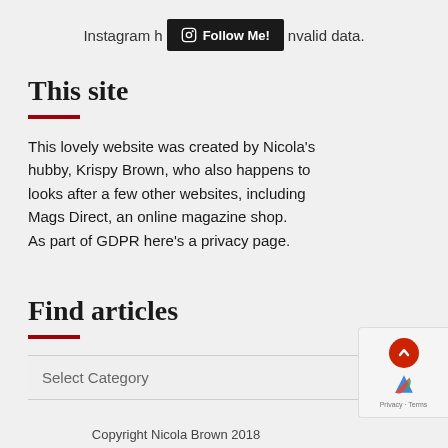Instagram h… invalid data.  [Follow Me! button]
This site
This lovely website was created by Nicola's hubby, Krispy Brown, who also happens to looks after a few other websites, including Mags Direct, an online magazine shop. As part of GDPR here's a privacy page.
Find articles
Select Category
Copyright Nicola Brown  2018